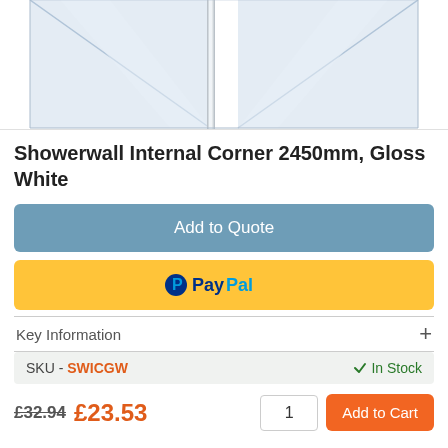[Figure (photo): Product photo of a showerwall internal corner fitting, glass panels meeting at a chrome corner joint, viewed from above/front angle. Partially cropped at top.]
Showerwall Internal Corner 2450mm, Gloss White
Add to Quote
[Figure (logo): PayPal payment button with PayPal logo on yellow background]
Key Information +
| SKU | Stock |
| --- | --- |
| SKU - SWICGW | In Stock |
£32.94 £23.53  1  Add to Cart